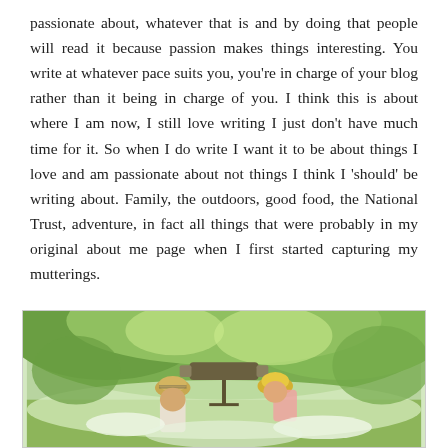passionate about, whatever that is and by doing that people will read it because passion makes things interesting. You write at whatever pace suits you, you're in charge of your blog rather than it being in charge of you. I think this is about where I am now, I still love writing I just don't have much time for it. So when I do write I want it to be about things I love and am passionate about not things I think I 'should' be writing about. Family, the outdoors, good food, the National Trust, adventure, in fact all things that were probably in my original about me page when I first started capturing my mutterings.
[Figure (photo): Two children looking through a large telescope or binocular viewer outdoors in a lush green forested setting. One child wears a striped hat, the other wears a yellow hat.]